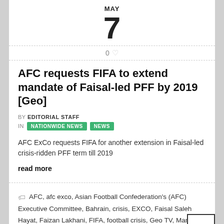MAY
7
0 ♡
AFC requests FIFA to extend mandate of Faisal-led PFF by 2019 [Geo]
BY EDITORIAL STAFF
IN NATIONWIDE NEWS  NEWS
AFC ExCo requests FIFA for another extension in Faisal-led crisis-ridden PFF term till 2019
read more
AFC, afc exco, Asian Football Confederation's (AFC) Executive Committee, Bahrain, crisis, EXCO, Faisal Saleh Hayat, Faizan Lakhani, FIFA, football crisis, Geo TV, Manama, PFF, political crisis